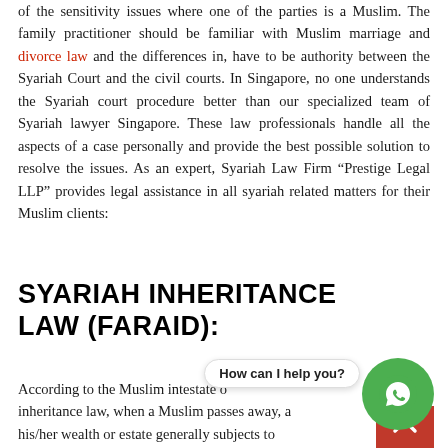of the sensitivity issues where one of the parties is a Muslim. The family practitioner should be familiar with Muslim marriage and divorce law and the differences in, have to be authority between the Syariah Court and the civil courts. In Singapore, no one understands the Syariah court procedure better than our specialized team of Syariah lawyer Singapore. These law professionals handle all the aspects of a case personally and provide the best possible solution to resolve the issues. As an expert, Syariah Law Firm “Prestige Legal LLP” provides legal assistance in all syariah related matters for their Muslim clients:
SYARIAH INHERITANCE LAW (FARAID):
According to the Muslim intestate o inheritance law, when a Muslim passes away, a his/her wealth or estate generally subjects to Faraid. In most cases, most of this estate is